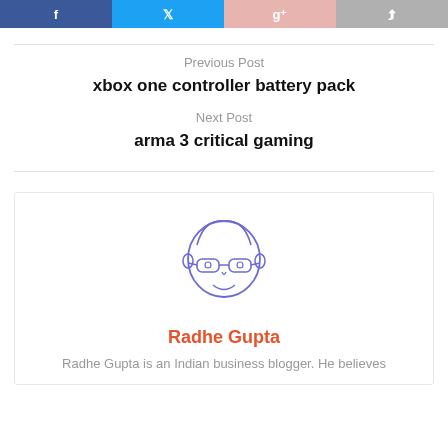[Figure (other): Social share buttons: Facebook, Twitter, Google+, Share]
Previous Post
xbox one controller battery pack
Next Post
arma 3 critical gaming
[Figure (illustration): Cartoon avatar illustration of Radhe Gupta — a boy with glasses drawn in blue outline style]
Radhe Gupta
Radhe Gupta is an Indian business blogger. He believes